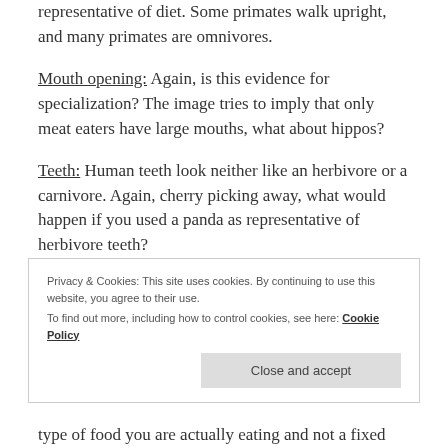representative of diet. Some primates walk upright, and many primates are omnivores.
Mouth opening: Again, is this evidence for specialization? The image tries to imply that only meat eaters have large mouths, what about hippos?
Teeth: Human teeth look neither like an herbivore or a carnivore. Again, cherry picking away, what would happen if you used a panda as representative of herbivore teeth?
Privacy & Cookies: This site uses cookies. By continuing to use this website, you agree to their use.
To find out more, including how to control cookies, see here: Cookie Policy
type of food you are actually eating and not a fixed